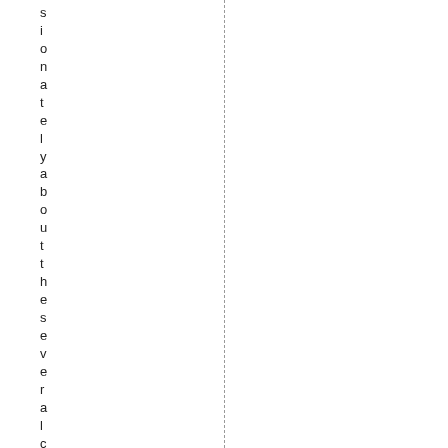s
i
o
n
a
t
e
l
y
a
b
o
u
t
t
h
e
s
e
v
e
r
a
l
c
o
n
c
e
r